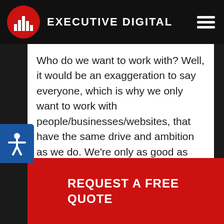EXECUTIVE DIGITAL
Who do we want to work with? Well, it would be an exaggeration to say everyone, which is why we only want to work with people/businesses/websites, that have the same drive and ambition as we do. We're only as good as the people we're working with, and the “synergy” between us, the “synergy” we create across their digital marketing channels/campaigns, should be strong. That’s why we [...]nts before [...] r expert [...] cute
REQUEST A FREE QUOTE